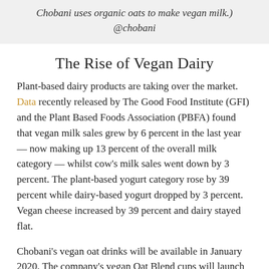Chobani uses organic oats to make vegan milk.) @chobani
The Rise of Vegan Dairy
Plant-based dairy products are taking over the market. Data recently released by The Good Food Institute (GFI) and the Plant Based Foods Association (PBFA) found that vegan milk sales grew by 6 percent in the last year — now making up 13 percent of the overall milk category — whilst cow's milk sales went down by 3 percent. The plant-based yogurt category rose by 39 percent while dairy-based yogurt dropped by 3 percent. Vegan cheese increased by 39 percent and dairy stayed flat.
Chobani's vegan oat drinks will be available in January 2020. The company's vegan Oat Blend cups will launch this month.